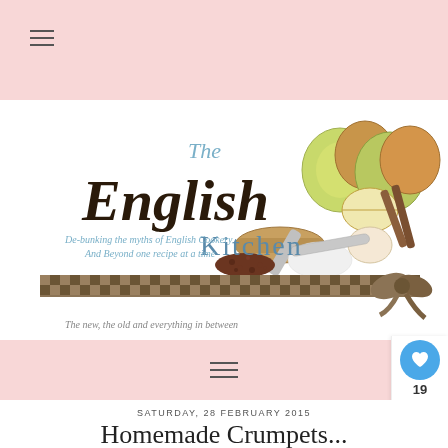[Figure (logo): The English Kitchen blog logo banner with apples, spices, a checkered ribbon, and text: 'The English Kitchen - De-bunking the myths of English Cookery And Beyond one recipe at a time - The new, the old and everything in between']
SATURDAY, 28 FEBRUARY 2015
Homemade Crumpets...
WHAT'S NEXT → Pear, Stilton & Walnut...